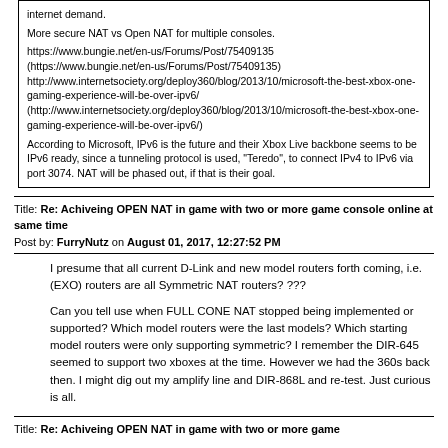internet demand.

More secure NAT vs Open NAT for multiple consoles.

https://www.bungie.net/en-us/Forums/Post/75409135 (https://www.bungie.net/en-us/Forums/Post/75409135) http://www.internetsociety.org/deploy360/blog/2013/10/microsoft-the-best-xbox-one-gaming-experience-will-be-over-ipv6/ (http://www.internetsociety.org/deploy360/blog/2013/10/microsoft-the-best-xbox-one-gaming-experience-will-be-over-ipv6/)

According to Microsoft, IPv6 is the future and their Xbox Live backbone seems to be IPv6 ready, since a tunneling protocol is used, "Teredo", to connect IPv4 to IPv6 via port 3074. NAT will be phased out, if that is their goal.
Title: Re: Achiveing OPEN NAT in game with two or more game console online at same time
Post by: FurryNutz on August 01, 2017, 12:27:52 PM
I presume that all current D-Link and new model routers forth coming, i.e. (EXO) routers are all Symmetric NAT routers? ???
Can you tell use when FULL CONE NAT stopped being implemented or supported? Which model routers were the last models? Which starting model routers were only supporting symmetric? I remember the DIR-645 seemed to support two xboxes at the time. However we had the 360s back then. I might dig out my amplify line and DIR-868L and re-test. Just curious is all.
Title: Re: Achiveing OPEN NAT in game with two or more game